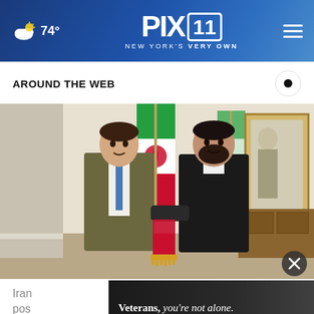PIX 11 NEW YORK'S VERY OWN — 74°
AROUND THE WEB
[Figure (photo): Two men shaking hands in front of an Iranian flag in a formal interior setting. One man wears a dark olive blazer with a blue tie; the other wears a dark suit with a clerical collar. A small Iranian flag is in the foreground. A gilded mirror and wooden furniture are visible in the background.]
Iran pos
Veterans, you're not alone.